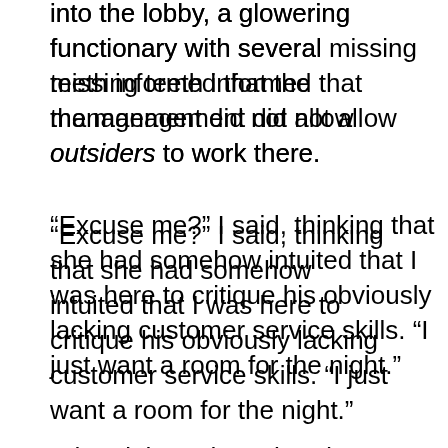into the lobby, a glowering functionary with several missing teeth informed that the management did not allow outsiders to work there.
“Excuse me?” I said, thinking that she had somehow intuited that I was here to critique his obviously lacking customer service skills. “I just want a room for the night.”
“The night?” she echoed blankly. “The entire night?”
Apparently, no one in recent memory had wanted to rent a room there for more than an hour at a stretch. The desk clerk did not even know what to charge.